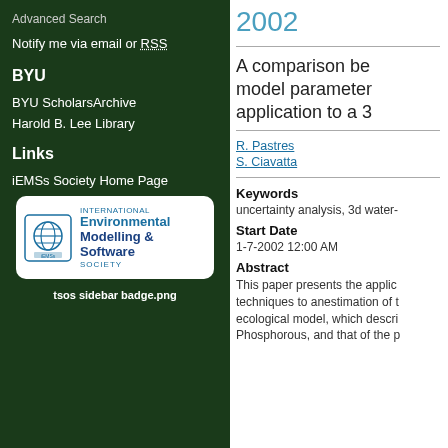Advanced Search
Notify me via email or RSS
BYU
BYU ScholarsArchive
Harold B. Lee Library
Links
iEMSs Society Home Page
[Figure (logo): International Environmental Modelling & Software Society (iEMSs) badge logo with globe icon]
tsos sidebar badge.png
2002
A comparison be model parameter application to a 3
R. Pastres
S. Ciavatta
Keywords
uncertainty analysis, 3d water-
Start Date
1-7-2002 12:00 AM
Abstract
This paper presents the applic techniques to anestimation of t ecological model, which descri Phosphorous, and that of the p